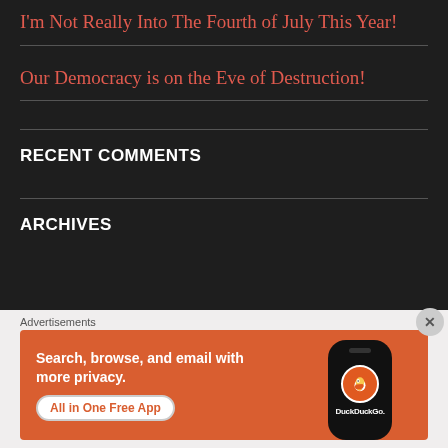I'm Not Really Into The Fourth of July This Year!
Our Democracy is on the Eve of Destruction!
RECENT COMMENTS
ARCHIVES
Advertisements
[Figure (screenshot): DuckDuckGo advertisement banner with orange background showing text 'Search, browse, and email with more privacy. All in One Free App' with a phone mockup displaying the DuckDuckGo logo]